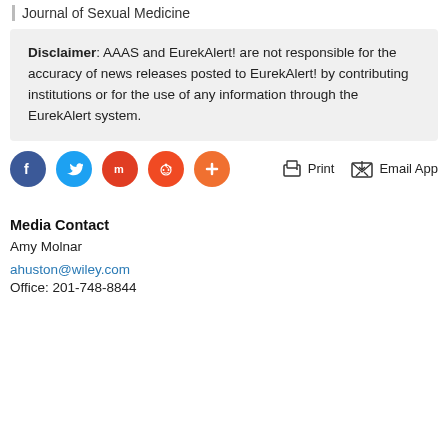Journal of Sexual Medicine
Disclaimer: AAAS and EurekAlert! are not responsible for the accuracy of news releases posted to EurekAlert! by contributing institutions or for the use of any information through the EurekAlert system.
[Figure (infographic): Row of social media sharing icons (Facebook, Twitter, Mix, Reddit, More/plus) and action buttons (Print, Email App)]
Media Contact
Amy Molnar
ahuston@wiley.com
Office: 201-748-8844